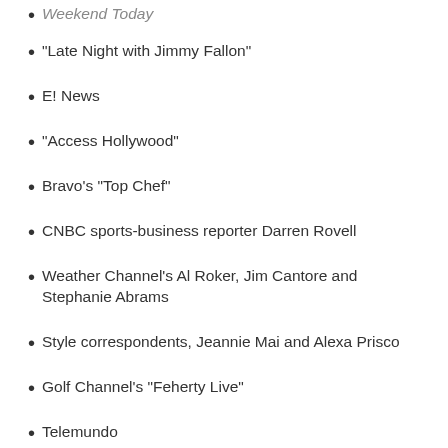Weekend Today
"Late Night with Jimmy Fallon"
E! News
"Access Hollywood"
Bravo's "Top Chef"
CNBC sports-business reporter Darren Rovell
Weather Channel's Al Roker, Jim Cantore and Stephanie Abrams
Style correspondents, Jeannie Mai and Alexa Prisco
Golf Channel's "Feherty Live"
Telemundo
NBC Sports Talk (partial, cut off)